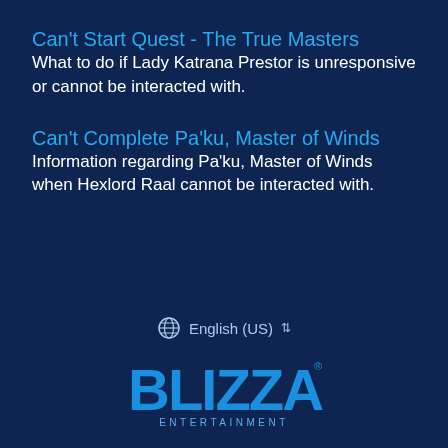Can't Start Quest - The True Masters
What to do if Lady Katrana Prestor is unresponsive or cannot be interacted with.
Can't Complete Pa'ku, Master of Winds
Information regarding Pa'ku, Master of Winds when Hexlord Raal cannot be interacted with.
[Figure (logo): Language selector with globe icon showing English (US)]
[Figure (logo): Blizzard Entertainment logo in blue]